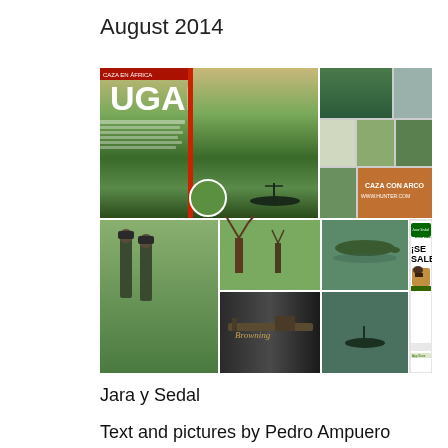August 2014
[Figure (photo): Magazine spread collage showing Uganda hunting article pages from Jara y Sedal, including landscape photos of Uganda waterways, hunters with binoculars, wildlife, rifle advertisement, and a digital edition promotional box reading 'Jara Sedal Digital ¡SE SALE!']
Jara y Sedal
Text and pictures by Pedro Ampuero